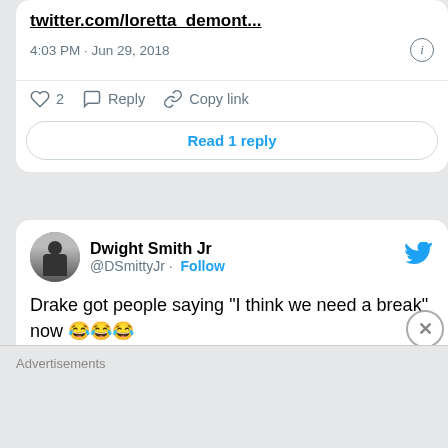beautiful hair I've ever seen. twitter.com/loretta_demont...
4:03 PM · Jun 29, 2018
♡ 2   Reply   Copy link
Read 1 reply
Dwight Smith Jr @DSmittyJr · Follow
Drake got people saying "I think we need a break" now 😂😂😂
4:27 PM · Jun 29, 2018
♡ 8   Reply   Copy link
Advertisements